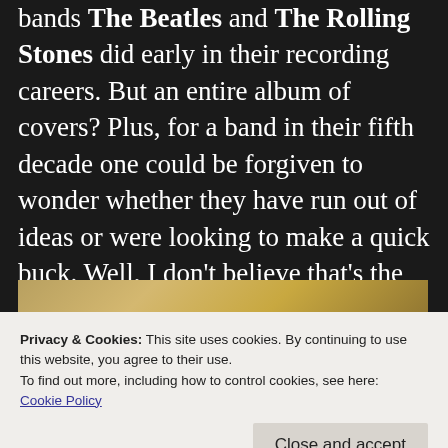bands The Beatles and The Rolling Stones did early in their recording careers. But an entire album of covers? Plus, for a band in their fifth decade one could be forgiven to wonder whether they have run out of ideas or were looking to make a quick buck. Well, I don't believe that's the case here. Plus, I've read a half dozen reviews and it strikes me they are all very positive.
[Figure (photo): A photo partially visible behind a cookie consent banner, showing a golden/warm background at top and darker ground-level scene at bottom with people visible.]
Privacy & Cookies: This site uses cookies. By continuing to use this website, you agree to their use.
To find out more, including how to control cookies, see here: Cookie Policy
Close and accept